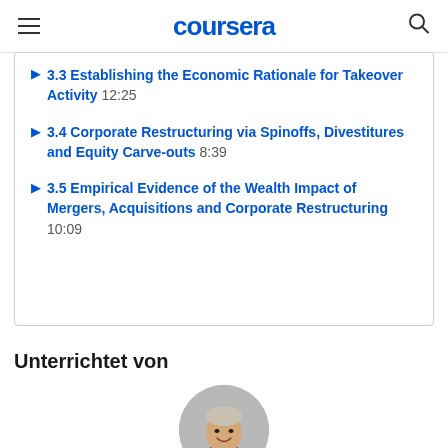coursera
3.3 Establishing the Economic Rationale for Takeover Activity  12:25
3.4 Corporate Restructuring via Spinoffs, Divestitures and Equity Carve-outs  8:39
3.5 Empirical Evidence of the Wealth Impact of Mergers, Acquisitions and Corporate Restructuring  10:09
Unterrichtet von
[Figure (photo): Circular profile photo of a smiling man in a suit and tie]